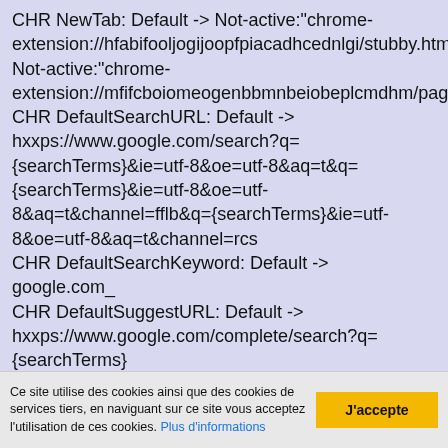CHR NewTab: Default -> Not-active:"chrome-extension://hfabifooljogijoopfpiacadhcednlgi/stubby.html", Not-active:"chrome-extension://mfifcboiomeogenbbmnbeiobeplcmdhm/pages/home.htm CHR DefaultSearchURL: Default -> hxxps://www.google.com/search?q={searchTerms}&ie=utf-8&oe=utf-8&aq=t&q={searchTerms}&ie=utf-8&oe=utf-8&aq=t&channel=fflb&q={searchTerms}&ie=utf-8&oe=utf-8&aq=t&channel=rcs CHR DefaultSearchKeyword: Default -> google.com_ CHR DefaultSuggestURL: Default -> hxxps://www.google.com/complete/search?q={searchTerms} CHR Session Restore: Default -> est activé. CHR Profile: C:\Users\Administrateur\AppData\Local\Google\Chrome\User Data\Default [2017-07-30] CHR Extension: (Shredder Chess Free) - C:\Users\Administrateur\AppData\Local\Google\Chrome\User Data\Default\Extensions\aelpbbhpcpelmnfablcbcianelefnnbg
Ce site utilise des cookies ainsi que des cookies de services tiers, en naviguant sur ce site vous acceptez l'utilisation de ces cookies. Plus d'informations